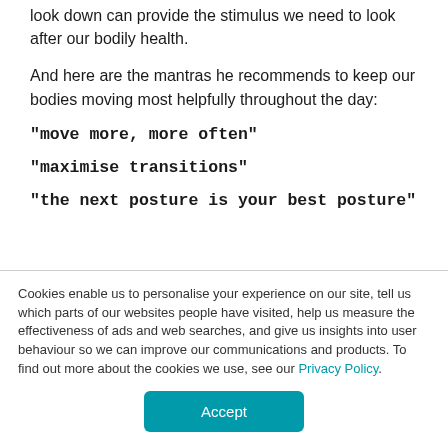look down can provide the stimulus we need to look after our bodily health.
And here are the mantras he recommends to keep our bodies moving most helpfully throughout the day:
"move more, more often"
"maximise transitions"
"the next posture is your best posture"
Cookies enable us to personalise your experience on our site, tell us which parts of our websites people have visited, help us measure the effectiveness of ads and web searches, and give us insights into user behaviour so we can improve our communications and products. To find out more about the cookies we use, see our Privacy Policy.